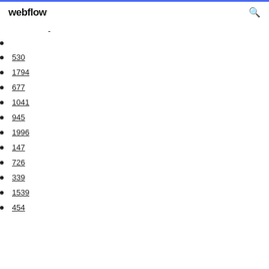webflow
-
530
1794
677
1041
945
1996
147
726
339
1539
454